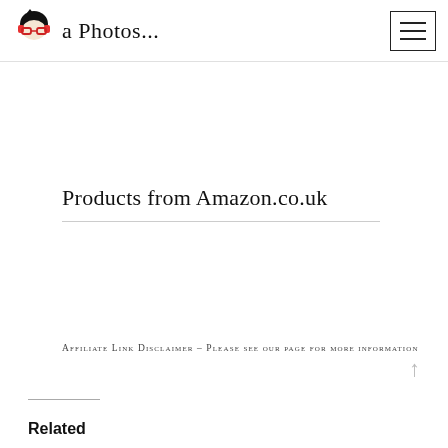a Photos...
Products from Amazon.co.uk
Affiliate Link Disclaimer – Please see our page for more information
Related